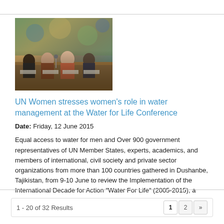[Figure (photo): People seated at a conference table, appearing to be delegates or officials at an international conference meeting.]
UN Women stresses women's role in water management at the Water for Life Conference
Date: Friday, 12 June 2015
Equal access to water for men and Over 900 government representatives of UN Member States, experts, academics, and members of international, civil society and private sector organizations from more than 100 countries gathered in Dushanbe, Tajikistan, from 9-10 June to review the Implementation of the International Decade for Action "Water For Life" (2005-2015), a global initiative for international cooperation in water management launched by the Government of Tajikistan 10 years ago.
1 - 20 of 32 Results  1 2 »